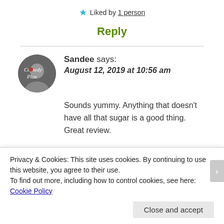★ Liked by 1 person
Reply
Sandee says:
August 12, 2019 at 10:56 am
Sounds yummy. Anything that doesn't have all that sugar is a good thing. Great review.
Thank you for joining the Awww Mondays Blog...
Privacy & Cookies: This site uses cookies. By continuing to use this website, you agree to their use.
To find out more, including how to control cookies, see here: Cookie Policy
Close and accept